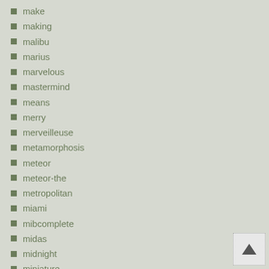make
making
malibu
marius
marvelous
mastermind
means
merry
merveilleuse
metamorphosis
meteor
meteor-the
metropolitan
miami
mibcomplete
midas
midnight
miniature
miraculous